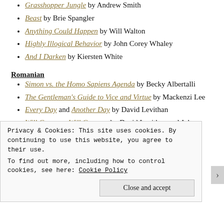Grasshopper Jungle by Andrew Smith
Beast by Brie Spangler
Anything Could Happen by Will Walton
Highly Illogical Behavior by John Corey Whaley
And I Darken by Kiersten White
Romanian
Simon vs. the Homo Sapiens Agenda by Becky Albertalli
The Gentleman's Guide to Vice and Virtue by Mackenzi Lee
Every Day and Another Day by David Levithan
Will Grayson, Will Grayson by David Levithan and John Green
I'll Give You the Sun by Jandy Nelson
Privacy & Cookies: This site uses cookies. By continuing to use this website, you agree to their use.
To find out more, including how to control cookies, see here: Cookie Policy
Close and accept